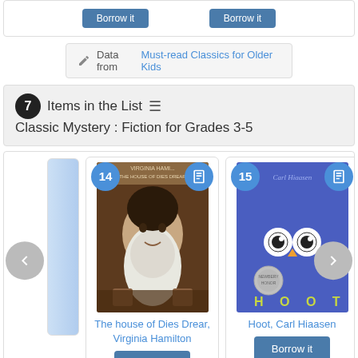[Figure (screenshot): Top partial area showing two 'Borrow it' buttons from previous book cards]
Data from Must-read Classics for Older Kids
7 Items in the List ☰ Classic Mystery : Fiction for Grades 3-5
[Figure (screenshot): Book carousel showing two books: 'The house of Dies Drear, Virginia Hamilton' (item 14) and 'Hoot, Carl Hiaasen' (item 15), each with a Borrow it button. Navigation arrows visible on left and right.]
The house of Dies Drear, Virginia Hamilton
Hoot, Carl Hiaasen